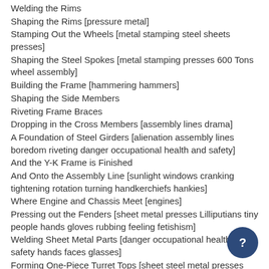Welding the Rims
Shaping the Rims [pressure metal]
Stamping Out the Wheels [metal stamping steel sheets presses]
Shaping the Steel Spokes [metal stamping presses 600 Tons wheel assembly]
Building the Frame [hammering hammers]
Shaping the Side Members
Riveting Frame Braces
Dropping in the Cross Members [assembly lines drama]
A Foundation of Steel Girders [alienation assembly lines boredom riveting danger occupational health and safety]
And the Y-K Frame is Finished
And Onto the Assembly Line [sunlight windows cranking tightening rotation turning handkerchiefs hankies]
Where Engine and Chassis Meet [engines]
Pressing out the Fenders [sheet metal presses Lilliputians tiny people hands gloves rubbing feeling fetishism]
Welding Sheet Metal Parts [danger occupational health and safety hands faces glasses]
Forming One-Piece Turret Tops [sheet steel metal presses Lilliputians tiny people]
Steel Takes Shape Under 750 Tons